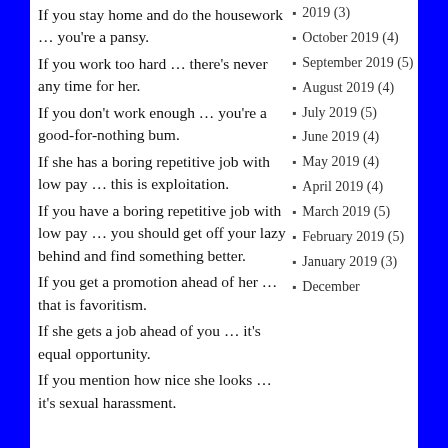If you stay home and do the housework … you're a pansy. If you work too hard … there's never any time for her. If you don't work enough … you're a good-for-nothing bum. If she has a boring repetitive job with low pay … this is exploitation. If you have a boring repetitive job with low pay … you should get off your lazy behind and find something better. If you get a promotion ahead of her … that is favoritism. If she gets a job ahead of you … it's equal opportunity. If you mention how nice she looks … it's sexual harassment.
2019 (3)
October 2019 (4)
September 2019 (5)
August 2019 (4)
July 2019 (5)
June 2019 (4)
May 2019 (4)
April 2019 (4)
March 2019 (5)
February 2019 (5)
January 2019 (3)
December